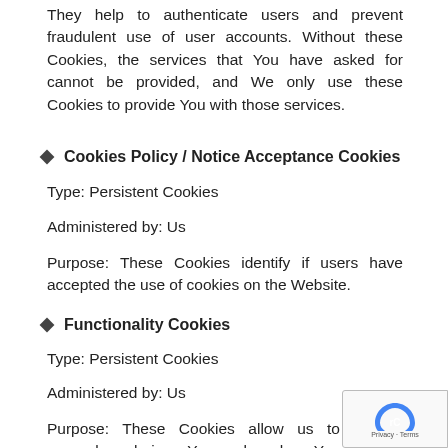They help to authenticate users and prevent fraudulent use of user accounts. Without these Cookies, the services that You have asked for cannot be provided, and We only use these Cookies to provide You with those services.
♦ Cookies Policy / Notice Acceptance Cookies
Type: Persistent Cookies
Administered by: Us
Purpose: These Cookies identify if users have accepted the use of cookies on the Website.
♦ Functionality Cookies
Type: Persistent Cookies
Administered by: Us
Purpose: These Cookies allow us to remember choices You make when You use the Website, such as remembering your login details or language preference. The purpose of these